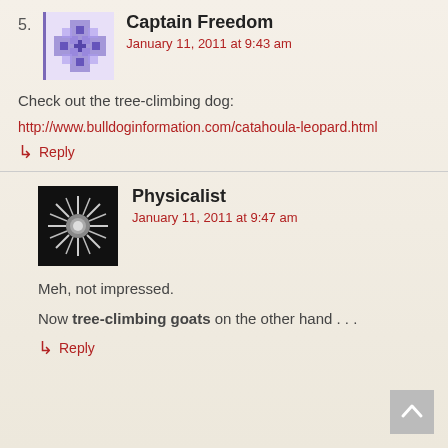5.
[Figure (illustration): Purple/violet geometric avatar with snowflake-like pattern for Captain Freedom]
Captain Freedom
January 11, 2011 at 9:43 am
Check out the tree-climbing dog:
http://www.bulldoginformation.com/catahoula-leopard.html
↳ Reply
[Figure (photo): Black and white avatar showing a spiky/starburst biological organism (like a sea urchin or microbe) for Physicalist]
Physicalist
January 11, 2011 at 9:47 am
Meh, not impressed.
Now tree-climbing goats on the other hand . . .
↳ Reply